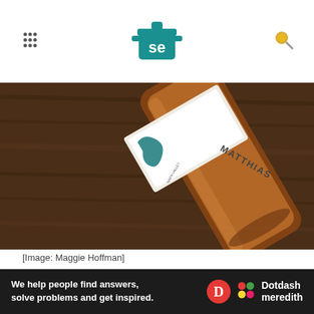Serious Eats
[Figure (photo): Close-up photo of a Matthiasson wine bottle lying on a wooden surface, with a white label showing 'MATTHIASSON' text and a teal decorative design. The bottle contains amber/rosé colored wine.]
[Image: Maggie Hoffman]
Steve Matthiasson is one of Napa's most respected winemakers and viticulturalists, so we weren't that surprised to discover that his single-vineyard
[Figure (logo): Dotdash Meredith advertisement banner: 'We help people find answers, solve problems and get inspired.' with Dotdash Meredith logo]